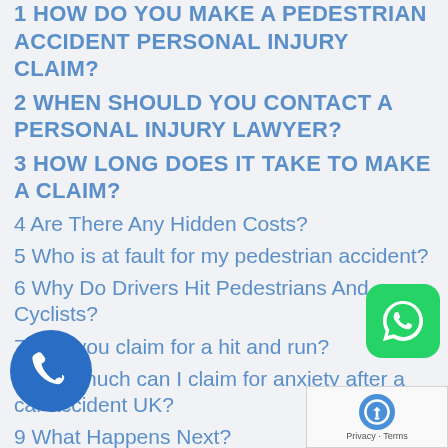1 HOW DO YOU MAKE A PEDESTRIAN ACCIDENT PERSONAL INJURY CLAIM?
2 WHEN SHOULD YOU CONTACT A PERSONAL INJURY LAWYER?
3 HOW LONG DOES IT TAKE TO MAKE A CLAIM?
4 Are There Any Hidden Costs?
5 Who is at fault for my pedestrian accident?
6 Why Do Drivers Hit Pedestrians And Cyclists?
7  Can you claim for a hit and run?
8 How much can I claim for anxiety after a car accident UK?
9 What Happens Next?
10 How Much Compensation Can I Claim For A Pedestrian Road Traffic Injury?
11 CAN I MAKE A PERSONAL INJURY CLAIM
[Figure (logo): Blue circular phone/call icon button]
[Figure (logo): WhatsApp green rounded square icon]
[Figure (logo): reCAPTCHA widget with Privacy and Terms links]